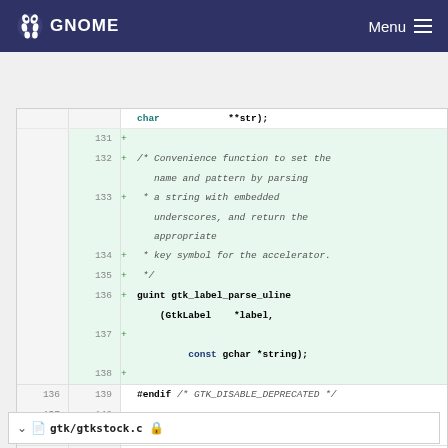GNOME   Menu
[Figure (screenshot): Code diff view showing lines 131-141 of a C header file with added lines (green background) including a comment block about a convenience function for gtk_label_parse_uline and context lines with #endif and #ifdef __cplusplus]
gtk/gtkstock.c